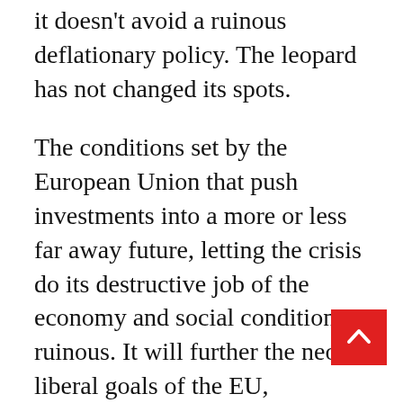it doesn't avoid a ruinous deflationary policy. The leopard has not changed its spots.
The conditions set by the European Union that push investments into a more or less far away future, letting the crisis do its destructive job of the economy and social conditions is ruinous. It will further the neo-liberal goals of the EU, strengthening international corporations while increasing inequality. It will also further the economic predominance of the EU North, especially of the EU hegemon Germany,  at the expense of the EU peripheral South and East.
4. In Italy, one of the countries most severely hit by the pandemic, the current crisis of